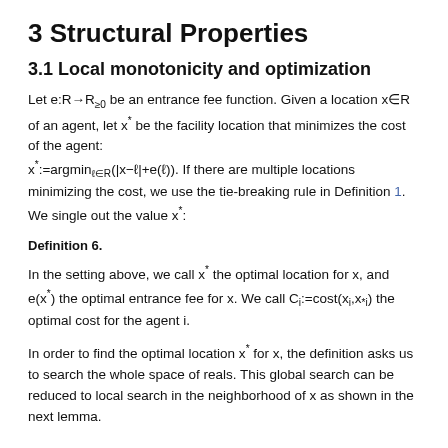3 Structural Properties
3.1 Local monotonicity and optimization
Let e:R→R≥0 be an entrance fee function. Given a location x∈R of an agent, let x* be the facility location that minimizes the cost of the agent: x*:=argminℓ∈R(|x−ℓ|+e(ℓ)). If there are multiple locations minimizing the cost, we use the tie-breaking rule in Definition 1. We single out the value x*:
Definition 6.
In the setting above, we call x* the optimal location for x, and e(x*) the optimal entrance fee for x. We call Ci:=cost(xi,x*i) the optimal cost for the agent i.
In order to find the optimal location x* for x, the definition asks us to search the whole space of reals. This global search can be reduced to local search in the neighborhood of x as shown in the next lemma.